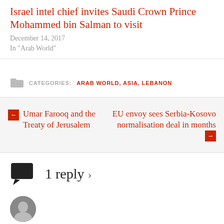Israel intel chief invites Saudi Crown Prince Mohammed bin Salman to visit
December 14, 2017
In "Arab World"
CATEGORIES: ARAB WORLD, ASIA, LEBANON
← Umar Farooq and the Treaty of Jerusalem
EU envoy sees Serbia-Kosovo normalisation deal in months →
1 reply ›